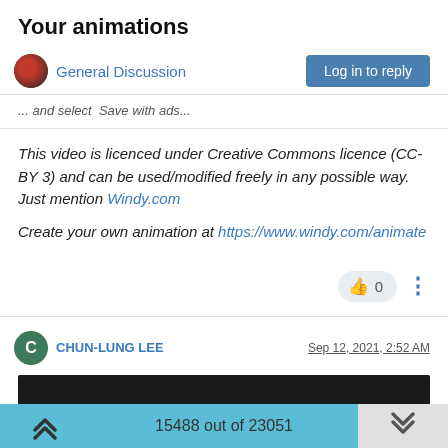Your animations
General Discussion
... and select  Save with ads...
This video is licenced under Creative Commons licence (CC-BY 3) and can be used/modified freely in any possible way. Just mention Windy.com
Create your own animation at https://www.windy.com/animate
0
CHUN-LUNG LEE
Sep 12, 2021, 2:52 AM
[Figure (photo): Dark video thumbnail]
15488 out of 23051